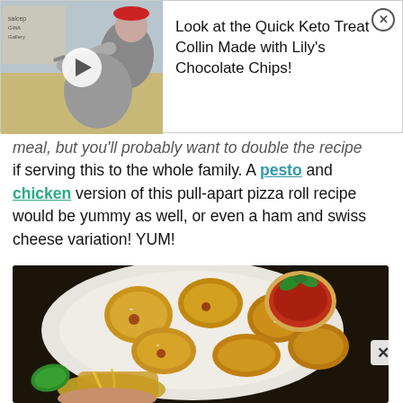[Figure (screenshot): Ad banner showing a video thumbnail of a person in a red cap eating with a spoon, with play button overlay. Text reads: Look at the Quick Keto Treat Collin Made with Lily's Chocolate Chips! Close button (X) in top right corner.]
meal, but you'll probably want to double the recipe if serving this to the whole family. A pesto and chicken version of this pull-apart pizza roll recipe would be yummy as well, or even a ham and swiss cheese variation! YUM!
[Figure (photo): Overhead photo of pull-apart pizza rolls in a white bowl with a small ramekin of marinara sauce garnished with fresh basil leaves. A hand holds a pulled-apart roll showing melted cheese and pepperoni filling.]